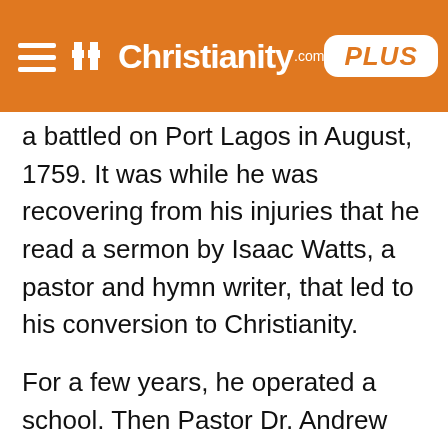Christianity.com PLUS
a battled on Port Lagos in August, 1759. It was while he was recovering from his injuries that he read a sermon by Isaac Watts, a pastor and hymn writer, that led to his conversion to Christianity.
For a few years, he operated a school. Then Pastor Dr. Andrew Gifford urged him to enter the Baptist ministry. By 1772, Medley was preaching in Liverpool. He took a real interest in the souls of seamen and adapted his preaching to them. Evidently his methods were lively, for his meeting-